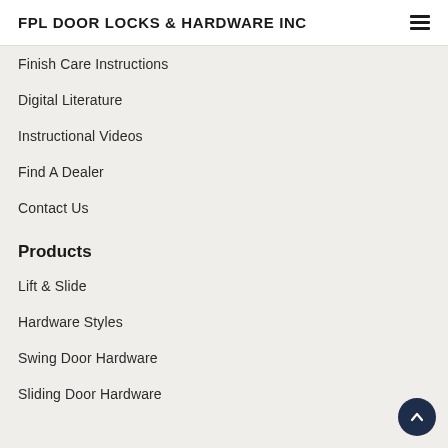FPL DOOR LOCKS & HARDWARE INC
Finish Care Instructions
Digital Literature
Instructional Videos
Find A Dealer
Contact Us
Products
Lift & Slide
Hardware Styles
Swing Door Hardware
Sliding Door Hardware